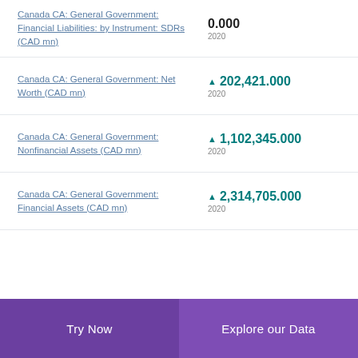Canada CA: General Government: Financial Liabilities: by Instrument: SDRs (CAD mn)
0.000
2020
Canada CA: General Government: Net Worth (CAD mn)
▲ 202,421.000
2020
Canada CA: General Government: Nonfinancial Assets (CAD mn)
▲ 1,102,345.000
2020
Canada CA: General Government: Financial Assets (CAD mn)
▲ 2,314,705.000
2020
Try Now | Explore our Data